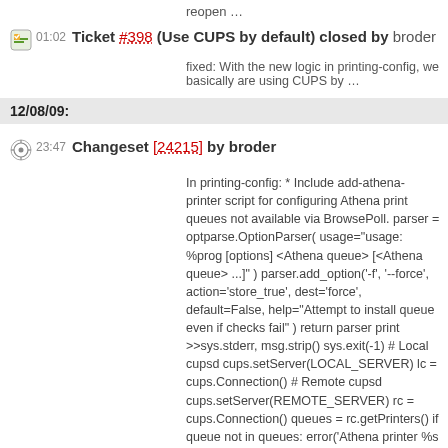reopen …
01:02 Ticket #398 (Use CUPS by default) closed by broder
fixed: With the new logic in printing-config, we basically are using CUPS by …
12/08/09:
23:47 Changeset [24215] by broder
In printing-config: * Include add-athena-printer script for configuring Athena print queues not available via BrowsePoll. parser = optparse.OptionParser( usage="usage: %prog [options] <Athena queue> [<Athena queue> ...]" ) parser.add_option('-f', '--force', action='store_true', dest='force', default=False, help="Attempt to install queue even if checks fail" ) return parser print >>sys.stderr, msg.strip() sys.exit(-1) # Local cupsd cups.setServer(LOCAL_SERVER) lc = cups.Connection() # Remote cupsd cups.setServer(REMOTE_SERVER) rc = cups.Connection() queues = rc.getPrinters() if queue not in queues: error('Athena printer %s does not exist' % queue) if not force and queue in lc.getPrinters(): error('The Athena printer %s has already been configured locally' % queue) info = queues[queue] # Download the PPD try: ppd = rc.getPPD(queue) except: error("""" try: lc.addPrinter(queue, filename=ppd, info=info['printer-info'], location=info['printer-location'], device=info['printer-uri-supported']) for k, v in rc.getPrinterAttributes(queue).items(): if not v: continue if not k.endswith('-default'): continue k = k[:-len('-default')] lc.addPrinterOptionDefault(queue, k, v) lc.acceptJobs(queue) lc.enablePrinter(queue) finally: os.unlink(ppd) options, args = parser().parse_args() try: if (not options.force and os.getuid() != 0 and grp.getgrnam('lpadmin').gr_gid not in os.getgroups()): error("""")